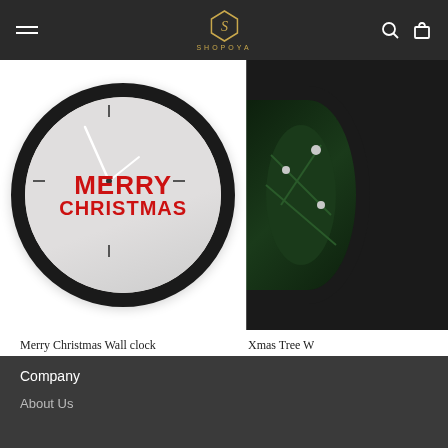SHOPOYA
[Figure (photo): Merry Christmas Wall clock with black frame and white face showing MERRY CHRISTMAS text in red]
[Figure (photo): Xmas Tree Wall clock partially visible on right side with dark frame and pine tree decoration]
Merry Christmas Wall clock
$50
Xmas Tree W
$50
Company
About Us